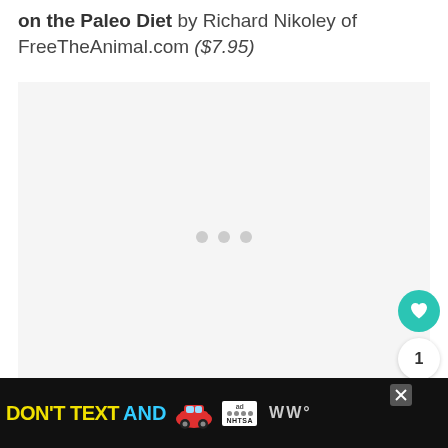on the Paleo Diet by Richard Nikoley of FreeTheAnimal.com ($7.95)
[Figure (other): Large image placeholder with gray background and three loading dots in the center]
[Figure (other): WHAT'S NEXT panel with thumbnail image and text 'Primal Life Kit']
[Figure (other): Advertisement banner: DON'T TEXT AND [car emoji] with NHTSA logo and close button]